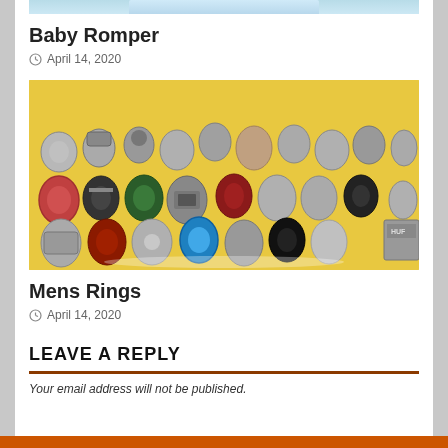[Figure (photo): Partial top of a baby romper product image on light blue background]
Baby Romper
April 14, 2020
[Figure (photo): Collection of mens silver rings with various gemstones and designs on a yellow background]
Mens Rings
April 14, 2020
LEAVE A REPLY
Your email address will not be published.